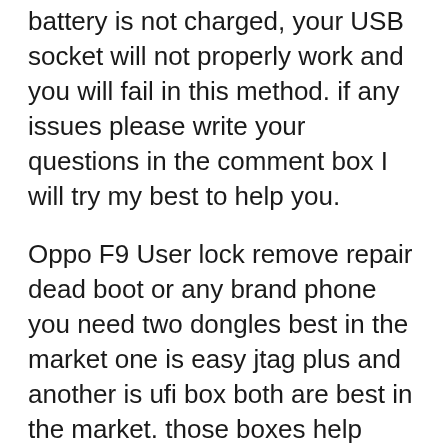battery is not charged, your USB socket will not properly work and you will fail in this method. if any issues please write your questions in the comment box I will try my best to help you.
Oppo F9 User lock remove repair dead boot or any brand phone you need two dongles best in the market one is easy jtag plus and another is ufi box both are best in the market. those boxes help some phone after flashing wrong firmware not show booting on-screen.this you need those boxes for boot repair. some brands, not possible lock remove like a pin, pattern, password, FRP, and MDM lock this really supports for remove locks.
What is ISP One MMC Direct?